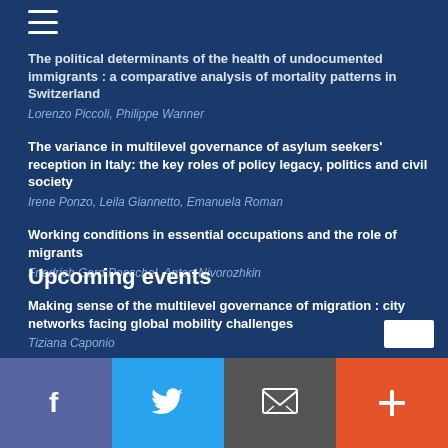[Figure (other): Hamburger menu icon (three horizontal white lines)]
The political determinants of the health of undocumented immigrants : a comparative analysis of mortality patterns in Switzerland
Lorenzo Piccoli, Philippe Wanner
The variance in multilevel governance of asylum seekers' reception in Italy: the key roles of policy legacy, politics and civil society
Irene Ponzo, Leila Giannetto, Emanuela Roman
Working conditions in essential occupations and the role of migrants
Friedrich Gerd Poeschel, Anton Nivorozhkin
Making sense of the multilevel governance of migration : city networks facing global mobility challenges
Tiziana Caponio
Upcoming events
Facebook | Twitter | Email | +